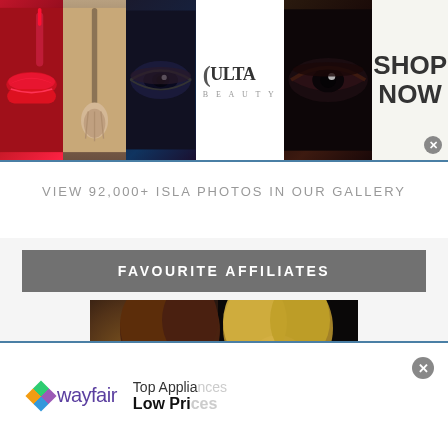[Figure (photo): ULTA Beauty advertisement banner with makeup photos: lips being painted red, a makeup brush, a smoky eye close-up, ULTA Beauty logo, another eye close-up, and SHOP NOW call-to-action with close button]
VIEW 92,000+ ISLA PHOTOS IN OUR GALLERY
FAVOURITE AFFILIATES
[Figure (photo): Photo of two women at an event: a brunette woman on the left and a laughing blonde woman on the right]
[Figure (photo): Wayfair advertisement banner with logo and text: Top Appliances, Low Prices]